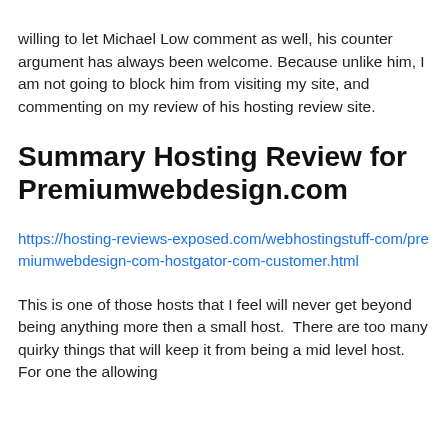agree with me, it often enhances a post. I am willing to let Michael Low comment as well, his counter argument has always been welcome. Because unlike him, I am not going to block him from visiting my site, and commenting on my review of his hosting review site.
Summary Hosting Review for Premiumwebdesign.com
https://hosting-reviews-exposed.com/webhostingstuff-com/premiumwebdesign-com-hostgator-com-customer.html
This is one of those hosts that I feel will never get beyond being anything more then a small host.  There are too many quirky things that will keep it from being a mid level host.  For one the allowing